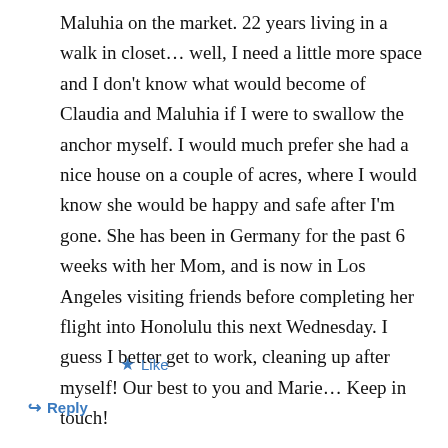Maluhia on the market. 22 years living in a walk in closet… well, I need a little more space and I don't know what would become of Claudia and Maluhia if I were to swallow the anchor myself. I would much prefer she had a nice house on a couple of acres, where I would know she would be happy and safe after I'm gone. She has been in Germany for the past 6 weeks with her Mom, and is now in Los Angeles visiting friends before completing her flight into Honolulu this next Wednesday. I guess I better get to work, cleaning up after myself! Our best to you and Marie… Keep in touch!
★ Like
↳ Reply